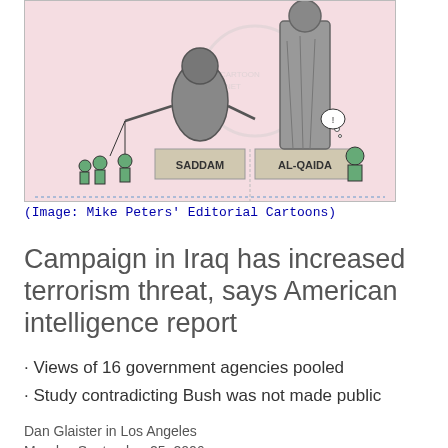[Figure (illustration): Editorial cartoon by Mike Peters showing two statues on pedestals labeled 'SADDAM' and 'AL-QAIDA'. A puppet-master figure controls puppet soldiers near the Saddam statue, while a soldier near the Al-Qaida statue has a thought bubble with an exclamation mark. Pink background with a CartoonNet watermark.]
(Image: Mike Peters' Editorial Cartoons)
Campaign in Iraq has increased terrorism threat, says American intelligence report
· Views of 16 government agencies pooled
· Study contradicting Bush was not made public
Dan Glaister in Los Angeles
Monday September 25, 2006
The Guardian